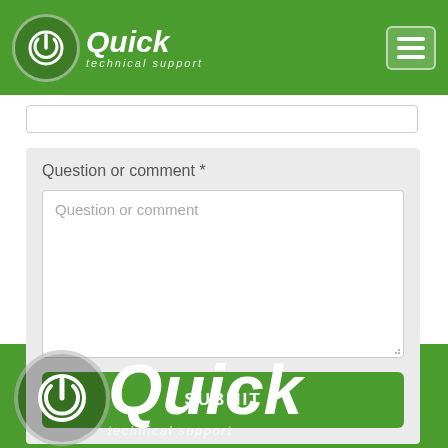Quick technical support
Question or comment *
Question or comment
SUBMIT
[Figure (logo): Quick Technical Support logo — white power button circle icon with 'Quick technical support' text in white italic on green background, repeated in footer]